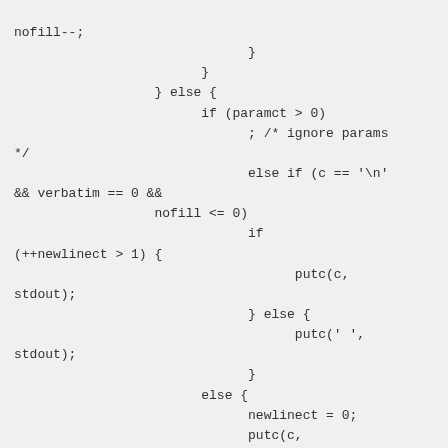nofill--;
                              }
                        }
                  } else {
                        if (paramct > 0)
                              ; /* ignore params
*/
                              else if (c == '\n'
&& verbatim == 0 &&
                  nofill <= 0)
                              if
(++newlinect > 1) {
                                    putc(c,
stdout);
                              } else {
                                    putc(' ',
stdout);
                              }
                        else {
                              newlinect = 0;
                              putc(c,
stdout);
                              }